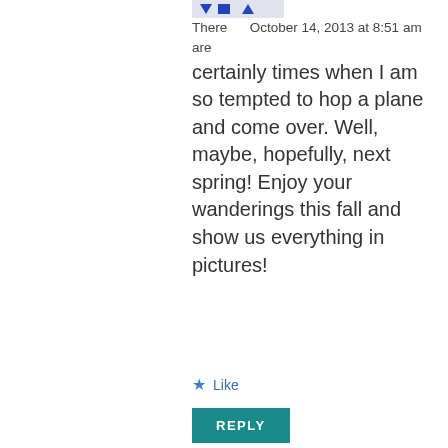[Figure (other): Small avatar/icon image with navigation arrows at top]
There   October 14, 2013 at 8:51 am
are
certainly times when I am so tempted to hop a plane and come over. Well, maybe, hopefully, next spring! Enjoy your wanderings this fall and show us everything in pictures!
Like
REPLY
[Figure (photo): Photo of a woman with blonde hair]
Tuula says:
Hope to see you here soon Libby!